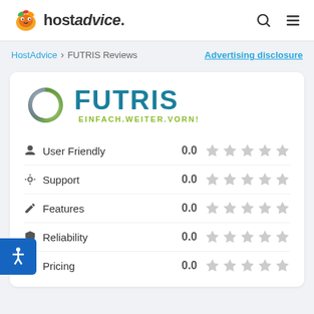[Figure (logo): HostAdvice logo with cartoon fox/animal mascot and bold text 'hostadvice.']
HostAdvice > FUTRIS Reviews
Advertising disclosure
[Figure (logo): FUTRIS company logo with teal/green circular icon, bold teal FUTRIS text, and green tagline EINFACH.WEITER.VORN!]
User Friendly  0.0  ☆☆☆☆☆
Support  0.0  ☆☆☆☆☆
Features  0.0  ☆☆☆☆☆
Reliability  0.0  ☆☆☆☆☆
Pricing  0.0  ☆☆☆☆☆